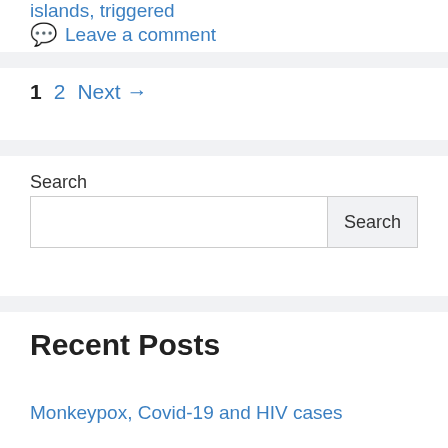islands, triggered
Leave a comment
1  2  Next →
Search
Recent Posts
Monkeypox, Covid-19 and HIV cases